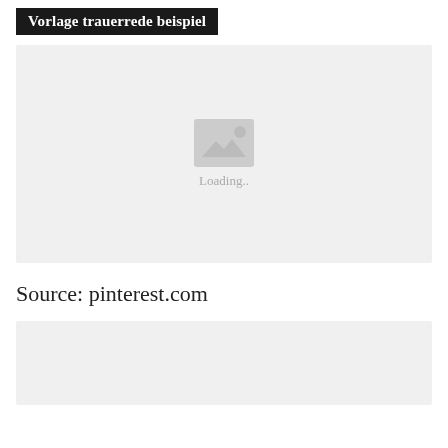Vorlage trauerrede beispiel
[Figure (photo): Image loading placeholder with mountain/landscape icon and 'Loading..' text on grey background]
Source: pinterest.com
[Figure (photo): Second image placeholder, grey background, partially visible]